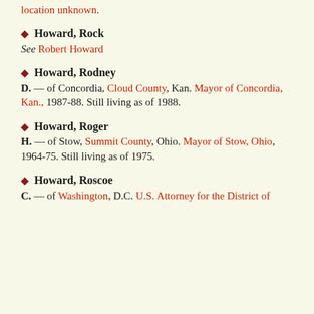location unknown.
Howard, Rock — See Robert Howard
Howard, Rodney D. — of Concordia, Cloud County, Kan. Mayor of Concordia, Kan., 1987-88. Still living as of 1988.
Howard, Roger H. — of Stow, Summit County, Ohio. Mayor of Stow, Ohio, 1964-75. Still living as of 1975.
Howard, Roscoe C. — of Washington, D.C. U.S. Attorney for the District of